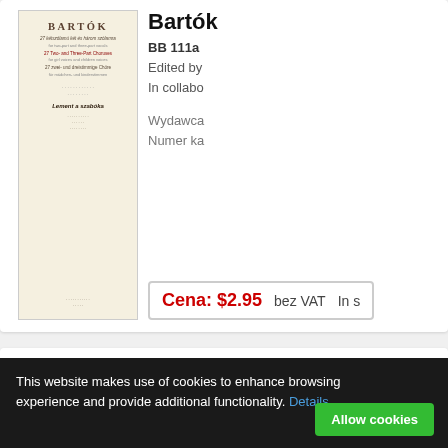[Figure (illustration): Book cover for Bartók 27 Two- and Three-Part Choruses, showing title BARTÓK in large letters, multilingual subtitle lines, piece name 'Lement a szabóka' in italic, small text lines, publisher info at bottom. Cream/off-white background.]
Bartók
BB 111a
Edited by
In collabo
Wydawca
Numer ka
Cena: $2.95  bez VAT  In s
[Figure (illustration): Book cover for Bartók 27 Two- and Three-Part Choruses, showing title BARTÓK in large letters, multilingual subtitle lines, piece name 'Husálesvéta' in italic, small text lines, publisher info at bottom. Cream/off-white background.]
Bartók
BB 111a
Edited by
In collabo
Wydawca
Numer ka
This website makes use of cookies to enhance browsing experience and provide additional functionality. Details
Allow cookies